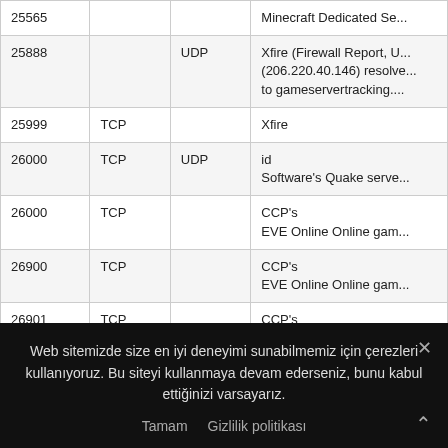| Port | TCP | UDP | Description |
| --- | --- | --- | --- |
| 25565 |  |  | Minecraft Dedicated Se... |
| 25888 |  | UDP | Xfire (Firewall Report, U... (206.220.40.146) resolve... to gameservertracking.... |
| 25999 | TCP |  | Xfire |
| 26000 | TCP | UDP | id Software's Quake serve... |
| 26000 | TCP |  | CCP's EVE Online Online gam... |
| 26900 | TCP |  | CCP's EVE Online Online gam... |
| 26901 | TCP |  | CCP's EVE Online Online gam... |
Web sitemizde size en iyi deneyimi sunabilmemiz için çerezleri kullanıyoruz. Bu siteyi kullanmaya devam ederseniz, bunu kabul ettiğinizi varsayarız.
Tamam   Gizlilik politikası